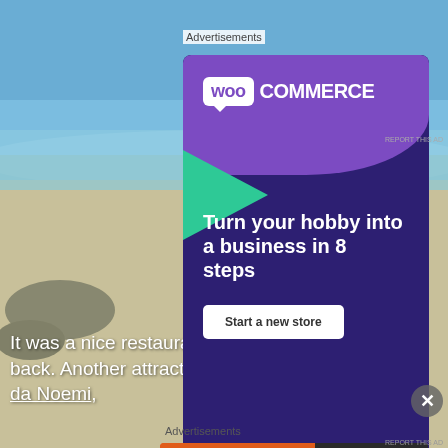Advertisements
[Figure (illustration): WooCommerce advertisement banner with purple background, WooCommerce logo at top, green arrow shape on left, cyan circle on bottom right, tagline 'Turn your hobby into a business in 8 steps', and a 'Start a new store' button. Set against a beach background photo.]
REPORT THIS AD
It was a nice restaurant though, and I would go back. Another attractive option though is Trattoria da Noemi,
Advertisements
[Figure (illustration): DuckDuckGo advertisement banner with orange left side reading 'Search, browse, and email with more privacy. All in One Free App' and dark right side with DuckDuckGo logo duck icon.]